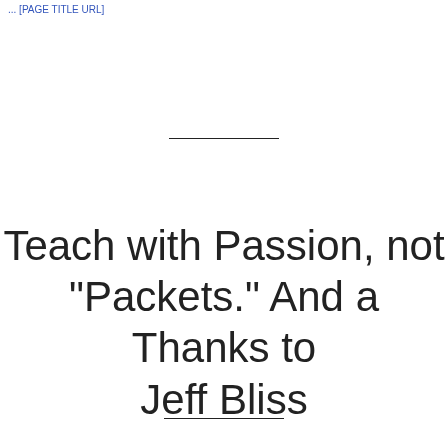... [PAGE TITLE URL]
Teach with Passion, not "Packets." And a Thanks to Jeff Bliss